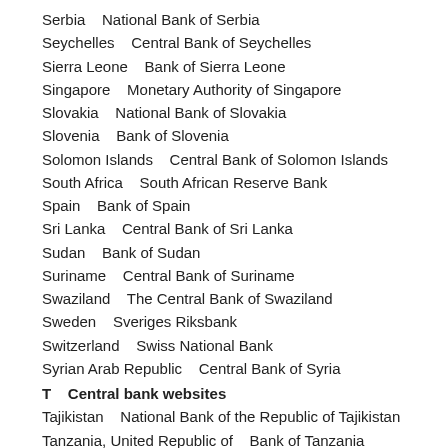Serbia    National Bank of Serbia
Seychelles    Central Bank of Seychelles
Sierra Leone    Bank of Sierra Leone
Singapore    Monetary Authority of Singapore
Slovakia    National Bank of Slovakia
Slovenia    Bank of Slovenia
Solomon Islands    Central Bank of Solomon Islands
South Africa    South African Reserve Bank
Spain    Bank of Spain
Sri Lanka    Central Bank of Sri Lanka
Sudan    Bank of Sudan
Suriname    Central Bank of Suriname
Swaziland    The Central Bank of Swaziland
Sweden    Sveriges Riksbank
Switzerland    Swiss National Bank
Syrian Arab Republic    Central Bank of Syria
T    Central bank websites
Tajikistan    National Bank of the Republic of Tajikistan
Tanzania, United Republic of    Bank of Tanzania